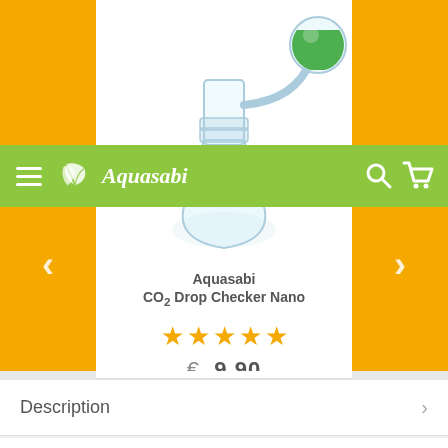[Figure (screenshot): Mobile e-commerce product page for Aquasabi CO2 Drop Checker Nano. Shows a glass laboratory flask/vial with green liquid, navigation bar with Aquasabi logo, product name, star rating, and price of €9.90, with Description and Dimensions accordion rows below.]
Aquasabi
Aquasabi
CO₂ Drop Checker Nano
★★★★★
€ 9,90
Description
Dimensions